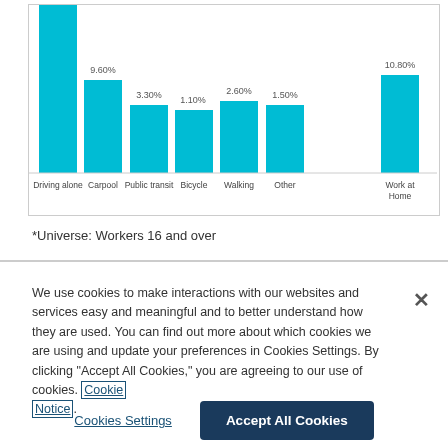[Figure (bar-chart): Means of Transportation to Work]
*Universe: Workers 16 and over
We use cookies to make interactions with our websites and services easy and meaningful and to better understand how they are used. You can find out more about which cookies we are using and update your preferences in Cookies Settings. By clicking “Accept All Cookies,” you are agreeing to our use of cookies. Cookie Notice.